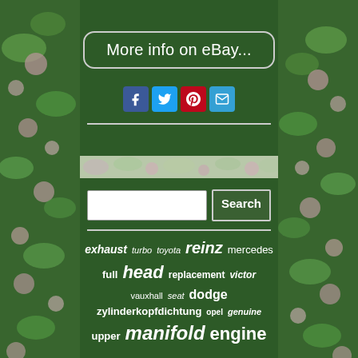[Figure (screenshot): eBay listing page screenshot with floral border, showing 'More info on eBay...' button, social share icons, a search bar, and a tag cloud of automotive keywords]
More info on eBay...
exhaust turbo toyota reinz mercedes full head replacement victor vauxhall seat dodge zylinderkopfdichtung opel genuine upper manifold engine